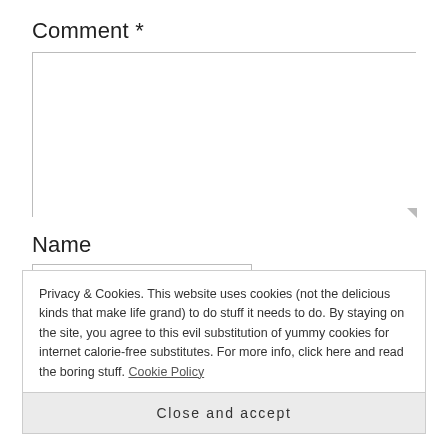Comment *
[Figure (screenshot): Empty comment textarea input box with resize handle]
Name
Privacy & Cookies. This website uses cookies (not the delicious kinds that make life grand) to do stuff it needs to do. By staying on the site, you agree to this evil substitution of yummy cookies for internet calorie-free substitutes. For more info, click here and read the boring stuff. Cookie Policy
Close and accept